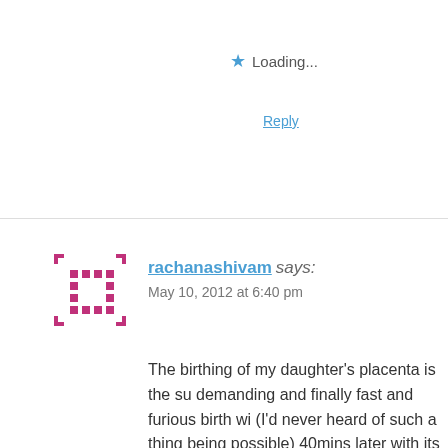★ Loading...
Reply
rachanashivam says:
May 10, 2012 at 6:40 pm
The birthing of my daughter's placenta is the su demanding and finally fast and furious birth wi (I'd never heard of such a thing being possible) 40mins later with its own sweet song. It was lik of a passionate lover. Very very pleasurable. It vagina and has left me very grateful for its cons was very, very tight around her neck, she was b blessed with attendants who were well aware a patiently eased it out to be lifted over her head after. (I was yet to arrive at the awareness that sure that leaving babies attached to their plac